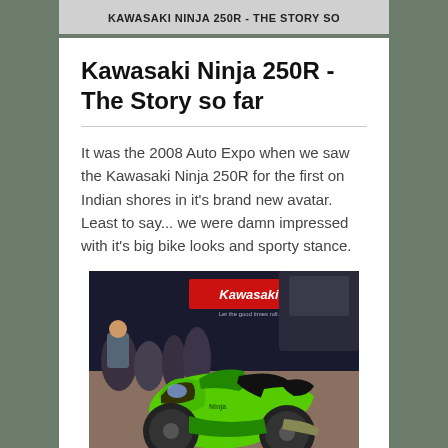KAWASAKI NINJA 250R - THE STORY SO
Kawasaki Ninja 250R - The Story so far
It was the 2008 Auto Expo when we saw the Kawasaki Ninja 250R for the first on Indian shores in it's brand new avatar. Least to say... we were damn impressed with it's big bike looks and sporty stance.
[Figure (photo): Green Kawasaki Ninja 250R motorcycle on display at 2008 Auto Expo with crowd and Kawasaki banner in background]